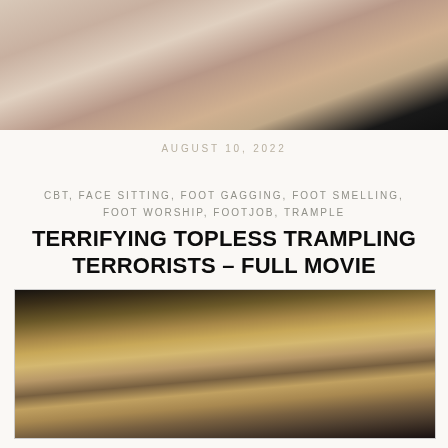[Figure (photo): Top portion of a photo showing skin tones with dark background at bottom, cropped]
AUGUST 10, 2022
CBT, FACE SITTING, FOOT GAGGING, FOOT SMELLING, FOOT WORSHIP, FOOTJOB, TRAMPLE
TERRIFYING TOPLESS TRAMPLING TERRORISTS – FULL MOVIE
[Figure (photo): Video still showing people on a couch in a room]